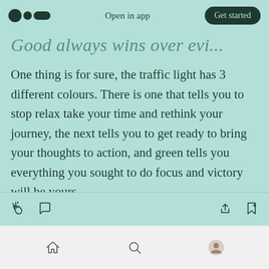Open in app | Get started
Good always wins over evi...
One thing is for sure, the traffic light has 3 different colours. There is one that tells you to stop relax take your time and rethink your journey, the next tells you to get ready to bring your thoughts to action, and green tells you everything you sought to do focus and victory will be yours.
[action bar icons: clap, comment, share, bookmark] [bottom nav: home, search, profile]